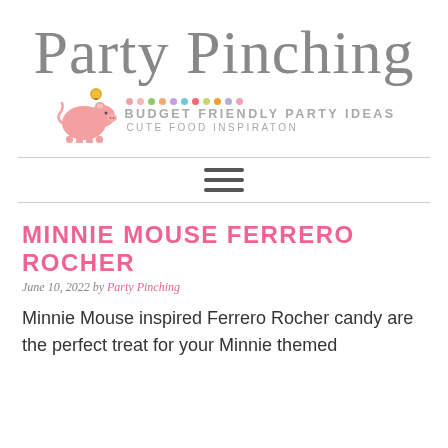Party Pinching
[Figure (logo): Party Pinching blog logo with a pink piggy bank wearing a coin, colorful dots, text 'BUDGET FRIENDLY PARTY IDEAS' and 'CUTE FOOD INSPIRATON']
[Figure (other): Hamburger menu icon with three horizontal lines between two horizontal rules]
MINNIE MOUSE FERRERO ROCHER
June 10, 2022 by Party Pinching
Minnie Mouse inspired Ferrero Rocher candy are the perfect treat for your Minnie themed